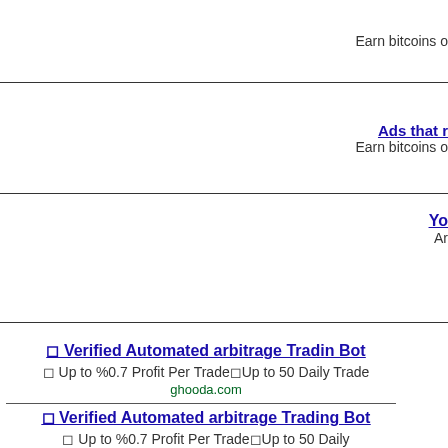Earn bitcoins o
Ads that r
Earn bitcoins o
Yo
Ar
◻ Verified Automated arbitrage Trading Bot
◻ Up to %0.7 Profit Per Trade◻Up to 50 Daily Trade
ghooda.com
◻ Verified Automated arbitrage Trading Bot
◻ Up to %0.7 Profit Per Trade◻Up to 50 Daily